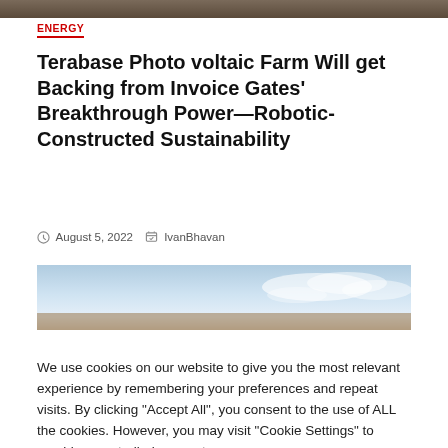[Figure (photo): Top portion of an outdoor photograph, partially cropped]
ENERGY
Terabase Photo voltaic Farm Will get Backing from Invoice Gates' Breakthrough Power—Robotic-Constructed Sustainability
August 5, 2022  IvanBhavan
[Figure (photo): Partially visible outdoor photo with sky and clouds, labelled '3 min read']
We use cookies on our website to give you the most relevant experience by remembering your preferences and repeat visits. By clicking "Accept All", you consent to the use of ALL the cookies. However, you may visit "Cookie Settings" to provide a controlled consent.